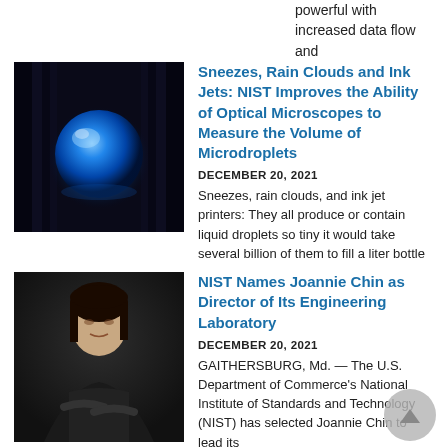powerful with increased data flow and
[Figure (photo): Close-up optical microscope image of a blue-lit liquid microdroplet on a dark background with vertical ridges visible]
Sneezes, Rain Clouds and Ink Jets: NIST Improves the Ability of Optical Microscopes to Measure the Volume of Microdroplets
DECEMBER 20, 2021
Sneezes, rain clouds, and ink jet printers: They all produce or contain liquid droplets so tiny it would take several billion of them to fill a liter bottle
[Figure (photo): Professional headshot portrait of Joannie Chin, a woman with dark hair, wearing dark clothing, arms crossed, against a dark background]
NIST Names Joannie Chin as Director of Its Engineering Laboratory
DECEMBER 20, 2021
GAITHERSBURG, Md. — The U.S. Department of Commerce's National Institute of Standards and Technology (NIST) has selected Joannie Chin to lead its